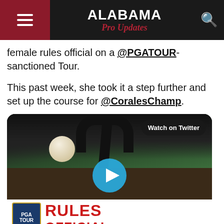ALABAMA Pro Updates
female rules official on a @PGATOUR-sanctioned Tour.
This past week, she took it a step further and set up the course for @CoralesChamp.
[Figure (screenshot): Embedded Twitter video showing a golf cart with a 'RULES OFFICIAL' sign, featuring a play button overlay and a 'Watch on Twitter' button.]